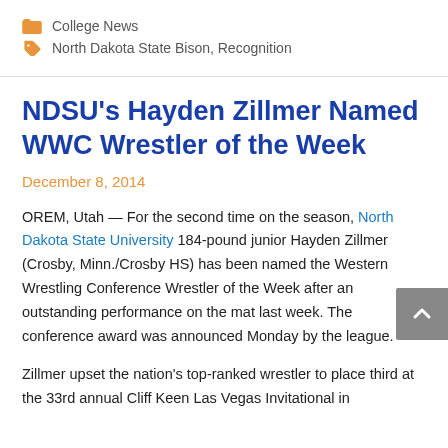College News
North Dakota State Bison, Recognition
NDSU's Hayden Zillmer Named WWC Wrestler of the Week
December 8, 2014
OREM, Utah — For the second time on the season, North Dakota State University 184-pound junior Hayden Zillmer (Crosby, Minn./Crosby HS) has been named the Western Wrestling Conference Wrestler of the Week after an outstanding performance on the mat last week. The conference award was announced Monday by the league.
Zillmer upset the nation's top-ranked wrestler to place third at the 33rd annual Cliff Keen Las Vegas Invitational in